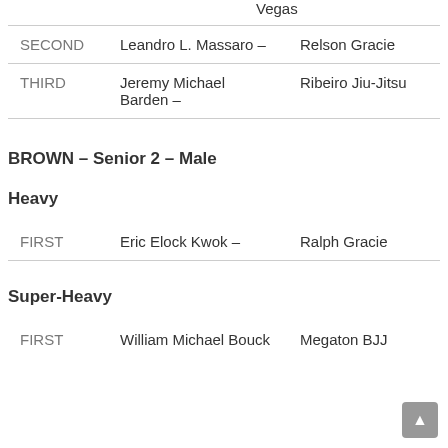Vegas
SECOND  Leandro L. Massaro –  Relson Gracie
THIRD  Jeremy Michael Barden –  Ribeiro Jiu-Jitsu
BROWN – Senior 2 – Male
Heavy
FIRST  Eric Elock Kwok –  Ralph Gracie
Super-Heavy
FIRST  William Michael Bouck  Megaton BJJ